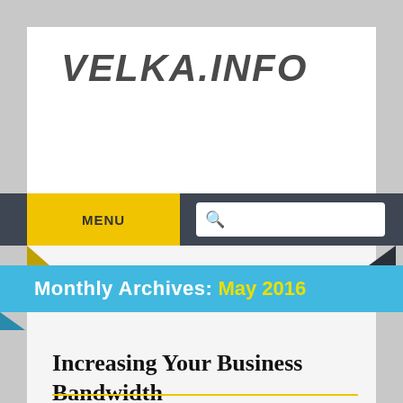VELKA.INFO
[Figure (screenshot): Navigation bar with yellow MENU button on left and search box on right, dark grey background]
Monthly Archives: May 2016
Increasing Your Business Bandwidth
Posted on MAY 16, 2016 by ROY